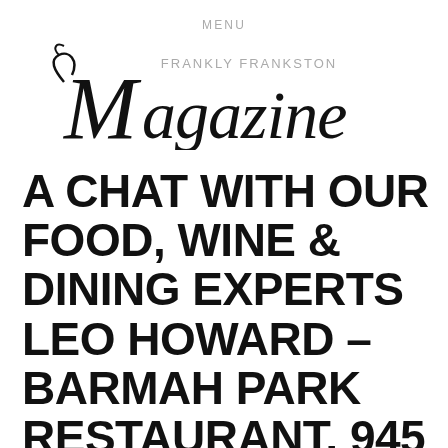MENU
[Figure (logo): Frankly Frankston Magazine logo with script italic text and small caps subtitle]
A CHAT WITH OUR FOOD, WINE & DINING EXPERTS LEO HOWARD – BARMAH PARK RESTAURANT, 945 MOOROODUC HIGHWAY, MOOROODUC